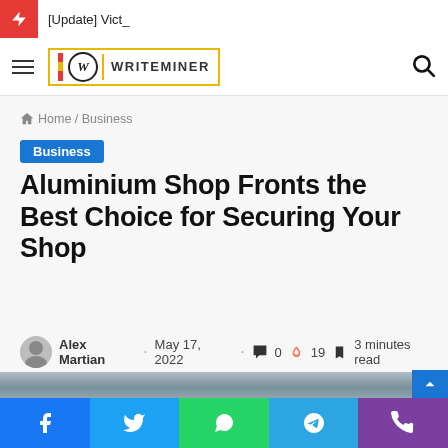[Update] Vict_
[Figure (logo): Writeminer logo with hamburger menu and search icon]
Home / Business
Business
Aluminium Shop Fronts the Best Choice for Securing Your Shop
Alex Martian · May 17, 2022 · 0 comments · 19 views · 3 minutes read
[Figure (photo): Photo of aluminium shop fronts/doors]
Facebook, Twitter, WhatsApp, Telegram, Phone social share buttons